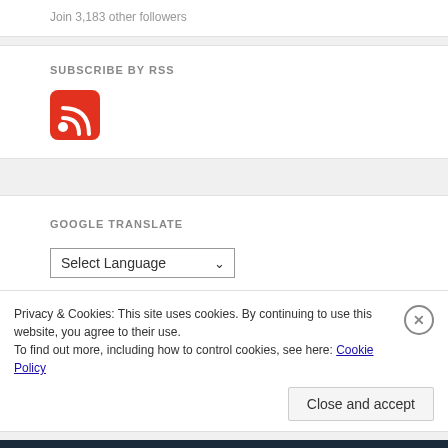Join 3,183 other followers
SUBSCRIBE BY RSS
[Figure (logo): Red RSS feed icon/logo]
GOOGLE TRANSLATE
[Figure (screenshot): Google Translate widget with 'Select Language' dropdown and 'Powered by Google Translate' text]
Privacy & Cookies: This site uses cookies. By continuing to use this website, you agree to their use. To find out more, including how to control cookies, see here: Cookie Policy
Close and accept